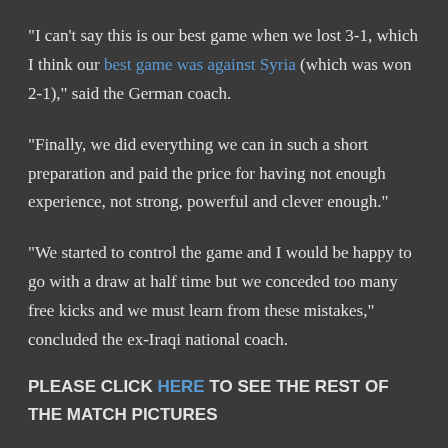"I can't say this is our best game when we lost 3-1, which I think our best game was against Syria (which was won 2-1)," said the German coach.
"Finally, we did everything we can in such a short preparation and paid the price for having not enough experience, not strong, powerful and clever enough."
"We started to control the game and I would be happy to go with a draw at half time but we conceded too many free kicks and we must learn from these mistakes," concluded the ex-Iraqi national coach.
PLEASE CLICK HERE TO SEE THE REST OF THE MATCH PICTURES